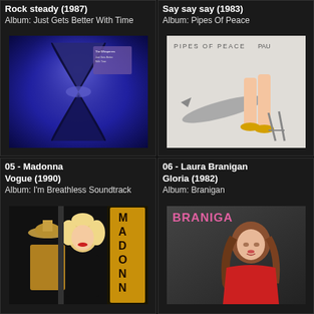Rock steady (1987)
Album: Just Gets Better With Time
[Figure (photo): Album cover for The Whisperers - Just Gets Better With Time, showing abstract hourglass shape in blue and black tones]
Say say say (1983)
Album: Pipes Of Peace
[Figure (photo): Album cover for Paul McCartney - Pipes Of Peace, showing white background with illustrated objects]
05 - Madonna
Vogue (1990)
Album: I'm Breathless Soundtrack
[Figure (photo): Album cover for Madonna - I'm Breathless Soundtrack, showing Madonna with man in hat, MADONNA text in yellow on black background]
06 - Laura Branigan
Gloria (1982)
Album: Branigan
[Figure (photo): Album cover for Laura Branigan - Branigan, showing woman in red against dark background with BRANIGAN text in pink]